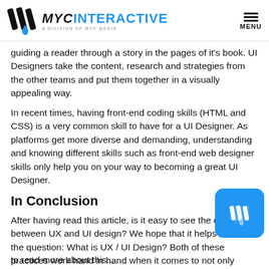MYC INTERACTIVE - A DIVISION OF MYC MEDIA
guiding a reader through a story in the pages of it's book. UI Designers take the content, research and strategies from the other teams and put them together in a visually appealing way.
In recent times, having front-end coding skills (HTML and CSS) is a very common skill to have for a UI Designer. As platforms get more diverse and demanding, understanding and knowing different skills such as front-end web designer skills only help you on your way to becoming a great UI Designer.
In Conclusion
After having read this article, is it easy to see the difference between UX and UI design? We hope that it helps answer the question: What is UX / UI Design? Both of these practices work hand in hand when it comes to not only promoting a product in the modern digital market but also keeping it relevant to an ever-changing user experience model.
to read more about this...